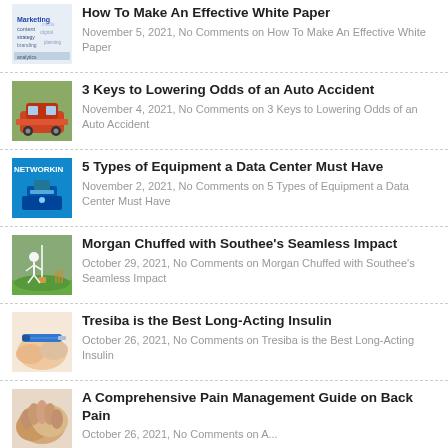How To Make An Effective White Paper — November 5, 2021, No Comments on How To Make An Effective White Paper
3 Keys to Lowering Odds of an Auto Accident — November 4, 2021, No Comments on 3 Keys to Lowering Odds of an Auto Accident
5 Types of Equipment a Data Center Must Have — November 2, 2021, No Comments on 5 Types of Equipment a Data Center Must Have
Morgan Chuffed with Southee's Seamless Impact — October 29, 2021, No Comments on Morgan Chuffed with Southee's Seamless Impact
Tresiba is the Best Long-Acting Insulin — October 26, 2021, No Comments on Tresiba is the Best Long-Acting Insulin
A Comprehensive Pain Management Guide on Back Pain — October 26, 2021, No Comments on A ...